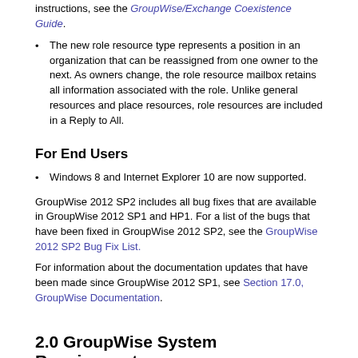instructions, see the GroupWise/Exchange Coexistence Guide.
The new role resource type represents a position in an organization that can be reassigned from one owner to the next. As owners change, the role resource mailbox retains all information associated with the role. Unlike general resources and place resources, role resources are included in a Reply to All.
For End Users
Windows 8 and Internet Explorer 10 are now supported.
GroupWise 2012 SP2 includes all bug fixes that are available in GroupWise 2012 SP1 and HP1. For a list of the bugs that have been fixed in GroupWise 2012 SP2, see the GroupWise 2012 SP2 Bug Fix List.
For information about the documentation updates that have been made since GroupWise 2012 SP1, see Section 17.0, GroupWise Documentation.
2.0 GroupWise System Requirements
GroupWise 2012 system requirements are listed in “GroupWise System Requirements” in “GroupWise Product Overview” in the GroupWise 2012 Installation Guide.
3.0 Linux Installation
Section 3.1, Linux Administration Software Installation Instructions